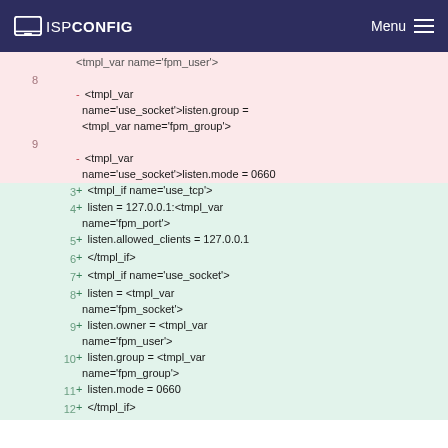ISPConfig  Menu
[Figure (screenshot): Code diff view showing removed lines (pink background) with line numbers 8-9 and added lines (green background) with line numbers 3-12. The diff shows template variable changes for PHP-FPM socket/TCP configuration.]